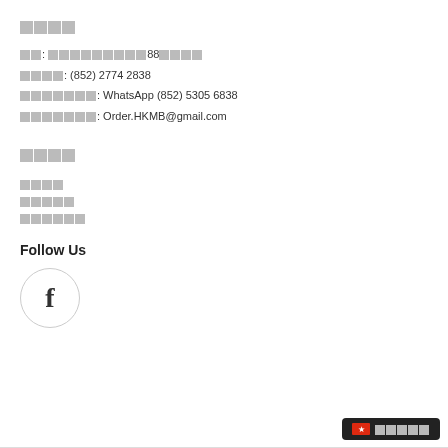联络我们
地址: 香港观塘88号工厂大厦
电话号码: (852) 2774 2838
联络方法: WhatsApp (852) 5305 6838
电子邮件: Order.HKMB@gmail.com
网站地图
关于我们
产品目录
联络我们
Follow Us
[Figure (logo): Facebook circular icon with letter f]
繁體中文